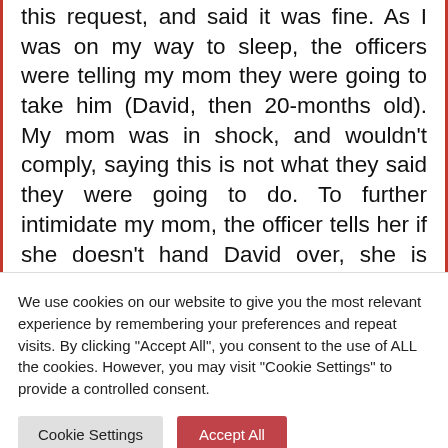this request, and said it was fine. As I was on my way to sleep, the officers were telling my mom they were going to take him (David, then 20-months old). My mom was in shock, and wouldn't comply, saying this is not what they said they were going to do. To further intimidate my mom, the officer tells her if she doesn't hand David over, she is going to be arrested for failing to comply.
We use cookies on our website to give you the most relevant experience by remembering your preferences and repeat visits. By clicking "Accept All", you consent to the use of ALL the cookies. However, you may visit "Cookie Settings" to provide a controlled consent.